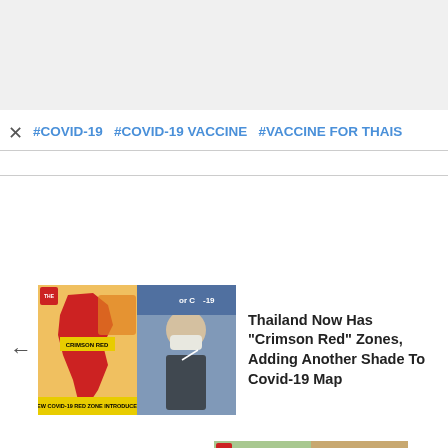#COVID-19  #COVID-19 VACCINE  #VACCINE FOR THAIS
[Figure (photo): Thumbnail showing Thailand COVID-19 map with crimson red zones highlighted and an official at a press conference, with banner 'NEW COVID-19 RED ZONE INTRODUCED']
Thailand Now Has "Crimson Red" Zones, Adding Another Shade To Covid-19 Map
World's Digital Nomads Ranked Chiang Mai As 5th Best City For Remote Work
[Figure (photo): Two thumbnails: a woman working on laptop with salad (Visa Options for Digital Nomads banner) and a historic wall/temple scene]